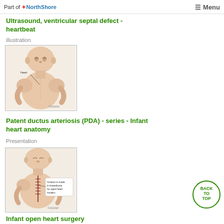Part of +NorthShore  ≡ Menu
Ultrasound, ventricular septal defect - heartbeat
illustration
[Figure (illustration): Medical illustration of an infant showing heart anatomy with label pointing to heart region. ADAM watermark visible.]
Patent ductus arteriosis (PDA) - series - Infant heart anatomy
Presentation
[Figure (illustration): Medical illustration of an infant showing open heart surgery incision on breastbone with labeled callout text. ADAM watermark visible.]
Infant open heart surgery
BACK TO TOP